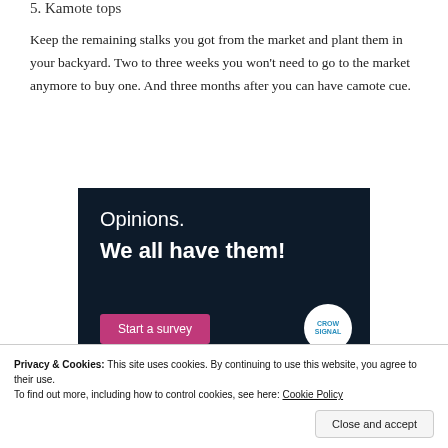5. Kamote tops
Keep the remaining stalks you got from the market and plant them in your backyard. Two to three weeks you won’t need to go to the market anymore to buy one. And three months after you can have camote cue.
[Figure (advertisement): Dark navy advertisement banner reading 'Opinions. We all have them!' with a pink 'Start a survey' button and a circular logo on the right.]
Privacy & Cookies: This site uses cookies. By continuing to use this website, you agree to their use.
To find out more, including how to control cookies, see here: Cookie Policy
Close and accept